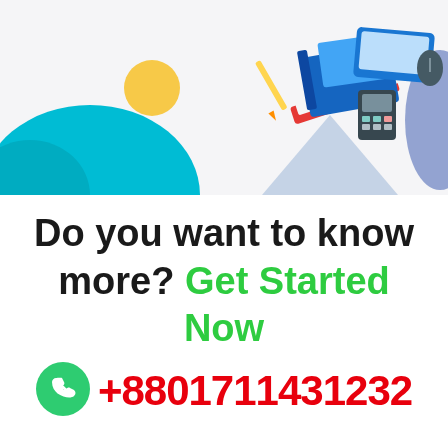[Figure (illustration): Colorful flat illustration showing teal mountains/hills on left, a yellow circle (sun), a light blue triangle, purple decorative shapes on right, and isometric stacked books with a laptop/calculator on the right side. Light gray/white background.]
Do you want to know more? Get Started Now
+8801711431232